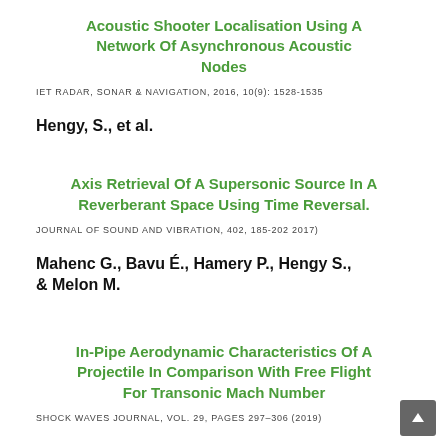Acoustic Shooter Localisation Using A Network Of Asynchronous Acoustic Nodes
IET RADAR, SONAR & NAVIGATION, 2016, 10(9): 1528-1535
Hengy, S., et al.
Axis Retrieval Of A Supersonic Source In A Reverberant Space Using Time Reversal.
JOURNAL OF SOUND AND VIBRATION, 402, 185-202 2017)
Mahenc G., Bavu É., Hamery P., Hengy S., & Melon M.
In-Pipe Aerodynamic Characteristics Of A Projectile In Comparison With Free Flight For Transonic Mach Number
SHOCK WAVES JOURNAL, VOL. 29, PAGES 297–306 (2019)